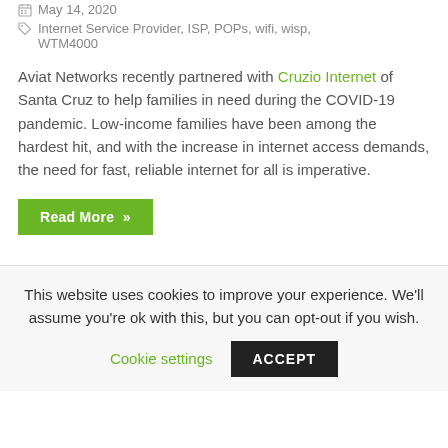May 14, 2020
Internet Service Provider, ISP, POPs, wifi, wisp, WTM4000
Aviat Networks recently partnered with Cruzio Internet of Santa Cruz to help families in need during the COVID-19 pandemic. Low-income families have been among the hardest hit, and with the increase in internet access demands, the need for fast, reliable internet for all is imperative.
Read More »
This website uses cookies to improve your experience. We'll assume you're ok with this, but you can opt-out if you wish.
Cookie settings
ACCEPT